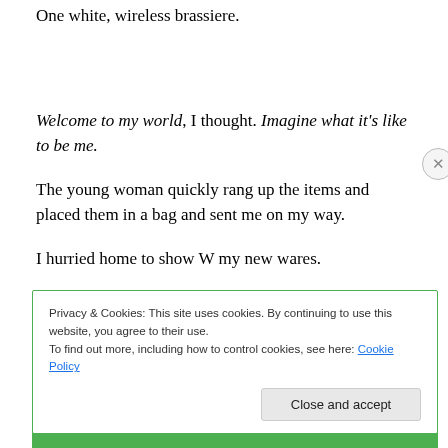One white, wireless brassiere.
Welcome to my world, I thought. Imagine what it's like to be me.
The young woman quickly rang up the items and placed them in a bag and sent me on my way.
I hurried home to show W my new wares.
Privacy & Cookies: This site uses cookies. By continuing to use this website, you agree to their use.
To find out more, including how to control cookies, see here: Cookie Policy